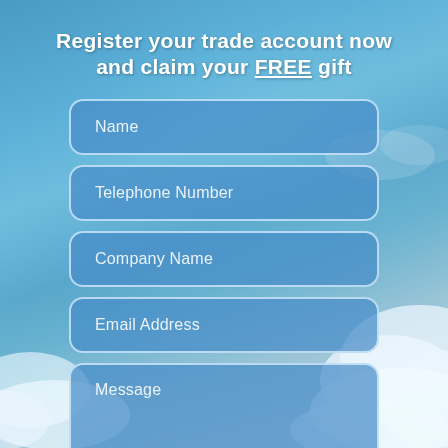Register your trade account now and claim your FREE gift
Name
Telephone Number
Company Name
Email Address
Message